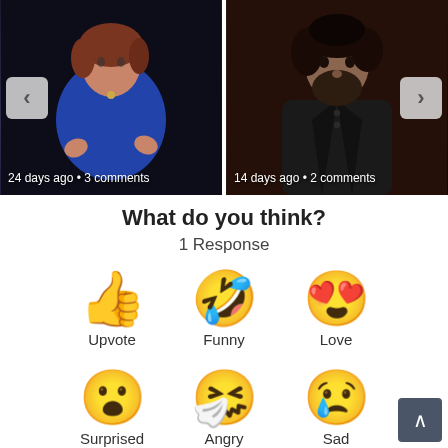[Figure (screenshot): Two video thumbnails side by side. Left: woman in blue top gesturing, caption '24 days ago • 3 comments'. Right: bearded man in dark jacket, caption '14 days ago • 2 comments'. Navigation arrows on each side.]
What do you think?
1 Response
[Figure (infographic): Six emoji reaction buttons in two rows: Upvote (thumbs up), Funny (squinting face with tongue), Love (smiling face with heart eyes), Surprised (astonished face), Angry (sneezing face), Sad (crying face)]